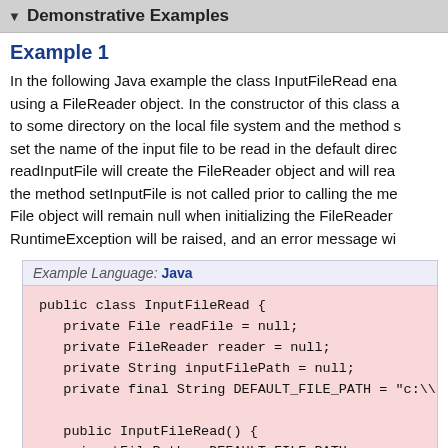Demonstrative Examples
Example 1
In the following Java example the class InputFileRead ena using a FileReader object. In the constructor of this class a to some directory on the local file system and the method s set the name of the input file to be read in the default direc readInputFile will create the FileReader object and will rea the method setInputFile is not called prior to calling the me File object will remain null when initializing the FileReader RuntimeException will be raised, and an error message wi
Example Language: Java
[Figure (screenshot): Java code block showing public class InputFileRead with fields readFile, reader, inputFilePath, DEFAULT_FILE_PATH, constructor InputFileRead(), method setInputFile(String inputFile) with comment about validation/encoding]